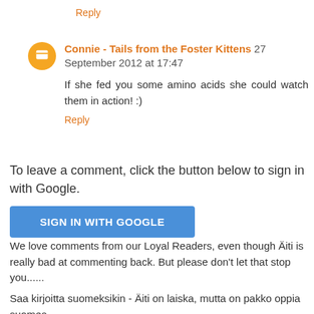Reply
Connie - Tails from the Foster Kittens 27 September 2012 at 17:47
If she fed you some amino acids she could watch them in action! :)
Reply
To leave a comment, click the button below to sign in with Google.
[Figure (other): Blue 'Sign in with Google' button]
We love comments from our Loyal Readers, even though Äiti is really bad at commenting back. But please don't let that stop you......
Saa kirjoitta suomeksikin - Äiti on laiska, mutta on pakko oppia suomea.